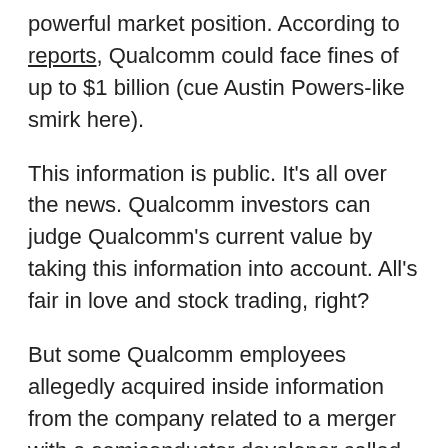powerful market position. According to reports, Qualcomm could face fines of up to $1 billion (cue Austin Powers-like smirk here).
This information is public. It's all over the news. Qualcomm investors can judge Qualcomm's current value by taking this information into account. All's fair in love and stock trading, right?
But some Qualcomm employees allegedly acquired inside information from the company related to a merger with a semiconductor developer called Atheros and traded stocks based on it. In early May 2014, the SEC sued three